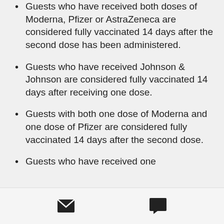Guests who have received both doses of Moderna, Pfizer or AstraZeneca are considered fully vaccinated 14 days after the second dose has been administered.
Guests who have received Johnson & Johnson are considered fully vaccinated 14 days after receiving one dose.
Guests with both one dose of Moderna and one dose of Pfizer are considered fully vaccinated 14 days after the second dose.
Guests who have received one